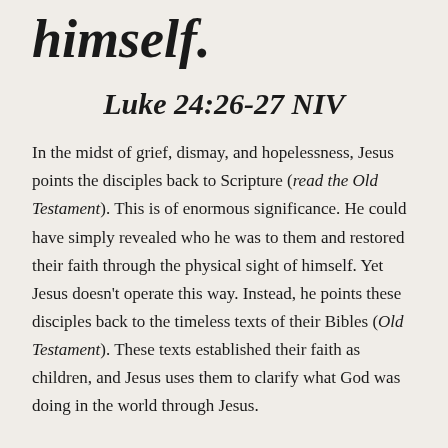himself.
Luke 24:26-27 NIV
In the midst of grief, dismay, and hopelessness, Jesus points the disciples back to Scripture (read the Old Testament). This is of enormous significance. He could have simply revealed who he was to them and restored their faith through the physical sight of himself. Yet Jesus doesn't operate this way. Instead, he points these disciples back to the timeless texts of their Bibles (Old Testament). These texts established their faith as children, and Jesus uses them to clarify what God was doing in the world through Jesus.